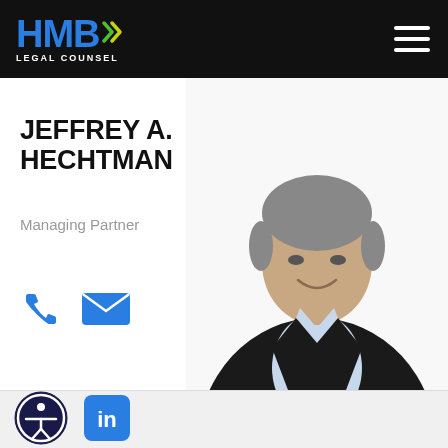HMB Legal Counsel
Jeffrey A. Hechtman
Managing Partner
[Figure (photo): Professional photo of Jeffrey A. Hechtman, a middle-aged man with grey hair wearing a dark blazer and light blue shirt, smiling]
[Figure (illustration): Blue phone icon for contact]
[Figure (illustration): Blue envelope/email icon for contact]
[Figure (logo): Accessibility icon - person in circle]
[Figure (logo): LinkedIn icon - 'in' in blue rounded square]